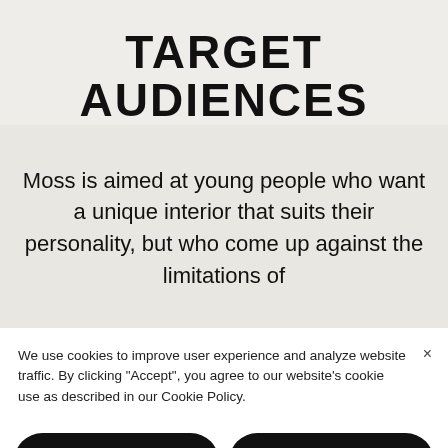TARGET AUDIENCES
Moss is aimed at young people who want a unique interior that suits their personality, but who come up against the limitations of
We use cookies to improve user experience and analyze website traffic. By clicking "Accept", you agree to our website's cookie use as described in our Cookie Policy.
Reject
Accept
Learn more and customize